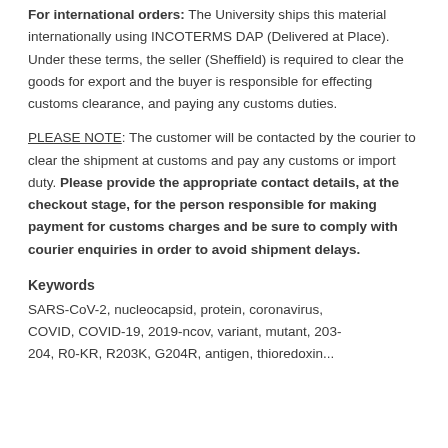For international orders: The University ships this material internationally using INCOTERMS DAP (Delivered at Place). Under these terms, the seller (Sheffield) is required to clear the goods for export and the buyer is responsible for effecting customs clearance, and paying any customs duties.
PLEASE NOTE: The customer will be contacted by the courier to clear the shipment at customs and pay any customs or import duty. Please provide the appropriate contact details, at the checkout stage, for the person responsible for making payment for customs charges and be sure to comply with courier enquiries in order to avoid shipment delays.
Keywords
SARS-CoV-2, nucleocapsid, protein, coronavirus, COVID, COVID-19, 2019-ncov, variant, mutant, 203-204, R0-KR, R203K, G204R, antigen, thioredoxin...